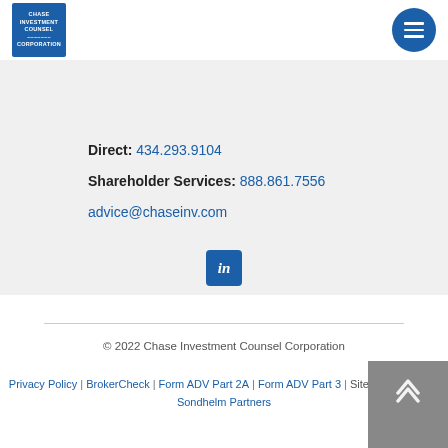[Figure (logo): Chase Investment Counsel Corporation logo - blue square with white text]
[Figure (illustration): Blue circle hamburger menu button with three white horizontal lines]
Direct: 434.293.9104
Shareholder Services: 888.861.7556
advice@chaseinv.com
[Figure (logo): LinkedIn icon - blue square with white 'in' text]
© 2022 Chase Investment Counsel Corporation
Privacy Policy | BrokerCheck | Form ADV Part 2A | Form ADV Part 3 | Site Developed by Sondhelm Partners